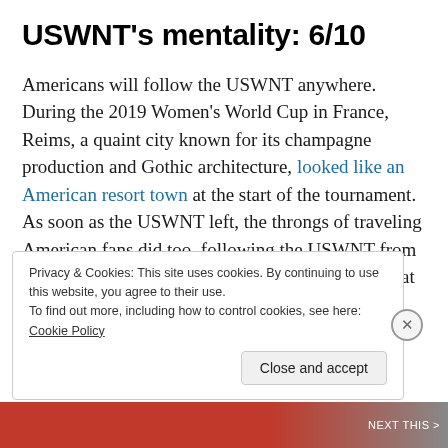USWNT's mentality: 6/10
Americans will follow the USWNT anywhere. During the 2019 Women's World Cup in France, Reims, a quaint city known for its champagne production and Gothic architecture, looked like an American resort town at the start of the tournament. As soon as the USWNT left, the throngs of traveling American fans did too, following the USWNT from city to city across France. The players admitted that every match in France were at the next find out into...
Privacy & Cookies: This site uses cookies. By continuing to use this website, you agree to their use.
To find out more, including how to control cookies, see here: Cookie Policy
[Close and accept]